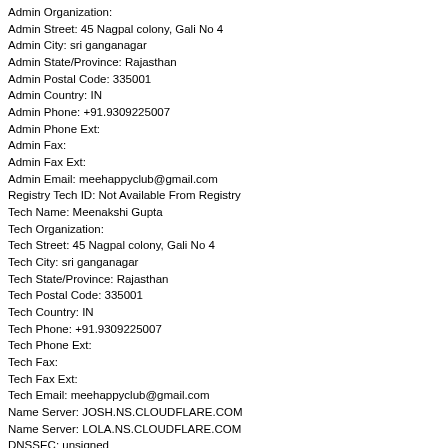Admin Organization:
Admin Street: 45 Nagpal colony, Gali No 4
Admin City: sri ganganagar
Admin State/Province: Rajasthan
Admin Postal Code: 335001
Admin Country: IN
Admin Phone: +91.9309225007
Admin Phone Ext:
Admin Fax:
Admin Fax Ext:
Admin Email: meehappyclub@gmail.com
Registry Tech ID: Not Available From Registry
Tech Name: Meenakshi Gupta
Tech Organization:
Tech Street: 45 Nagpal colony, Gali No 4
Tech City: sri ganganagar
Tech State/Province: Rajasthan
Tech Postal Code: 335001
Tech Country: IN
Tech Phone: +91.9309225007
Tech Phone Ext:
Tech Fax:
Tech Fax Ext:
Tech Email: meehappyclub@gmail.com
Name Server: JOSH.NS.CLOUDFLARE.COM
Name Server: LOLA.NS.CLOUDFLARE.COM
DNSSEC: unsigned
URL of the ICANN WHOIS Data Problem Reporting System: http://wdprs.internic.net/
>>> Last update of WHOIS database: 2022-08-29T11:09:39Z <<<
For more information on Whois status codes, please visit https://icann.org/epp
TERMS OF USE: The data contained in this registrar’s Whois database, while believed b registrar to be reliable, is provided "as is" with no guarantee or warranties regarding its accuracy. This information is provided for the sole purpose of assisting you in obtaining information about domain name registration records. Any use of this data for any other pu is expressly forbidden without the prior written permission of this registrar. By submitting an inquiry, you agree to these terms and limitations of warranty. In particular, you agree m to use this data to allow, enable, or otherwise support the dissemination or collection of th